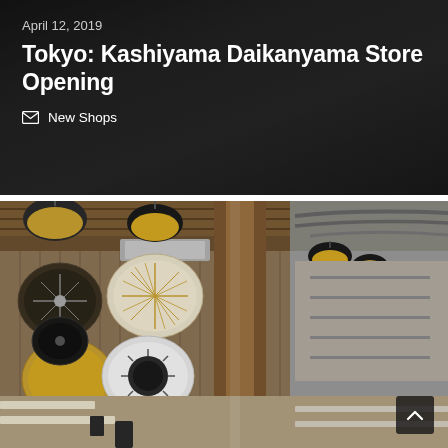April 12, 2019
Tokyo: Kashiyama Daikanyama Store Opening
✉ New Shops
[Figure (photo): Interior of Kashiyama Daikanyama store showing modern restaurant/retail space with decorative wall art pieces (circular ornamental discs in black, white and gold), pendant lamps with yellow undersides, wooden column, exposed ceiling with ductwork, and seating area with tables and chairs.]